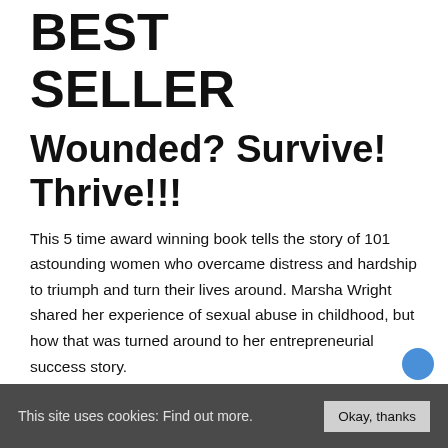BEST SELLER Wounded? Survive! Thrive!!!
This 5 time award winning book tells the story of 101 astounding women who overcame distress and hardship to triumph and turn their lives around. Marsha Wright shared her experience of sexual abuse in childhood, but how that was turned around to her entrepreneurial success story.
Foreword: Cathy Greenberg, New York Times Best Selling Author
This site uses cookies: Find out more.  Okay, thanks